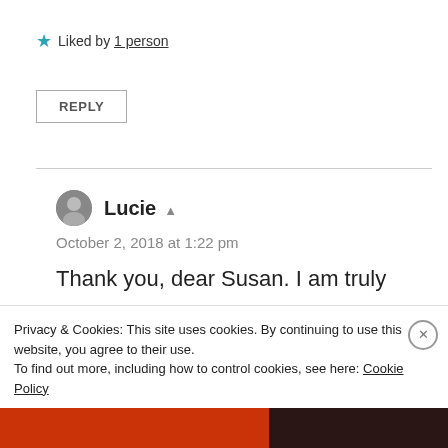★ Liked by 1 person
REPLY
Lucie
October 2, 2018 at 1:22 pm
Thank you, dear Susan. I am truly
Privacy & Cookies: This site uses cookies. By continuing to use this website, you agree to their use. To find out more, including how to control cookies, see here: Cookie Policy
Close and accept